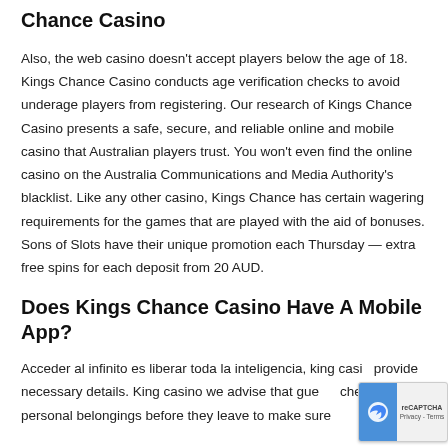Chance Casino
Also, the web casino doesn't accept players below the age of 18. Kings Chance Casino conducts age verification checks to avoid underage players from registering. Our research of Kings Chance Casino presents a safe, secure, and reliable online and mobile casino that Australian players trust. You won't even find the online casino on the Australia Communications and Media Authority's blacklist. Like any other casino, Kings Chance has certain wagering requirements for the games that are played with the aid of bonuses. Sons of Slots have their unique promotion each Thursday — extra free spins for each deposit from 20 AUD.
Does Kings Chance Casino Have A Mobile App?
Acceder al infinito es liberar toda la inteligencia, king casin… provide necessary details. King casino we advise that gue… check their personal belongings before they leave to make sure…